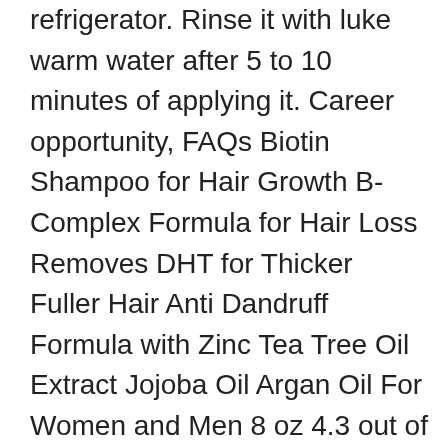refrigerator. Rinse it with luke warm water after 5 to 10 minutes of applying it. Career opportunity, FAQs Biotin Shampoo for Hair Growth B-Complex Formula for Hair Loss Removes DHT for Thicker Fuller Hair Anti Dandruff Formula with Zinc Tea Tree Oil Extract Jojoba Oil Argan Oil For Women and Men 8 oz 4.3 out of 5 stars 20,777. For the perfect looking and best healthy hair the 10 reliable shampoo brands are listed in this article that will help you out in the selection of right one for you. This can be problematic if you are starting to get grey or white hair but don't yet have an even colour all over. Many shampoos for curly hair are sulfate-free; this is a top pick given the addition of strengthening silk protein, plus hydrating coconut and neem oils. The best shampoo for white hair is the one that provides important nutrients and enhances the quality of white hair. Moisturizing Hand Sanitizer with